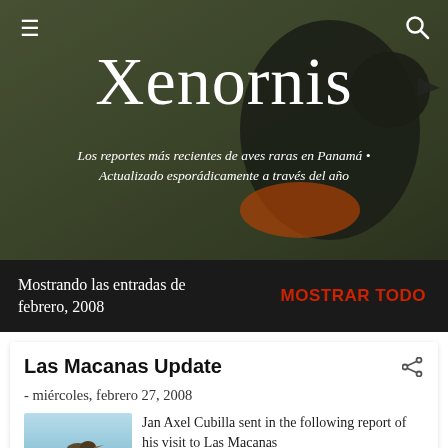[Figure (screenshot): Website screenshot showing a bird (black bird with orange/red) as hero background image with navigation icons]
Xenornis
Los reportes más recientes de aves raras en Panamá • Actualizado esporádicamente a través del año
Mostrando las entradas de febrero, 2008
MOSTRAR TODO
Las Macanas Update
- miércoles, febrero 27, 2008
Jan Axel Cubilla sent in the following report of his visit to Las Macanas